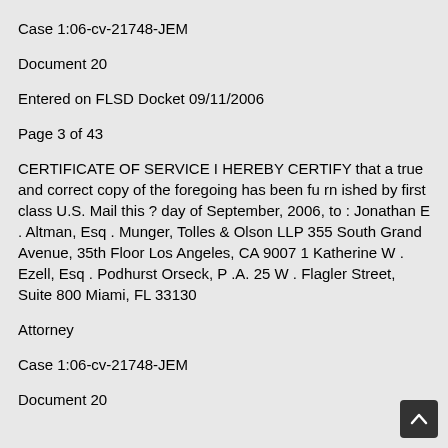Case 1:06-cv-21748-JEM
Document 20
Entered on FLSD Docket 09/11/2006
Page 3 of 43
CERTIFICATE OF SERVICE I HEREBY CERTIFY that a true and correct copy of the foregoing has been fu rn ished by first class U.S. Mail this ? day of September, 2006, to : Jonathan E . Altman, Esq . Munger, Tolles & Olson LLP 355 South Grand Avenue, 35th Floor Los Angeles, CA 9007 1 Katherine W . Ezell, Esq . Podhurst Orseck, P .A. 25 W . Flagler Street, Suite 800 Miami, FL 33130
Attorney
Case 1:06-cv-21748-JEM
Document 20